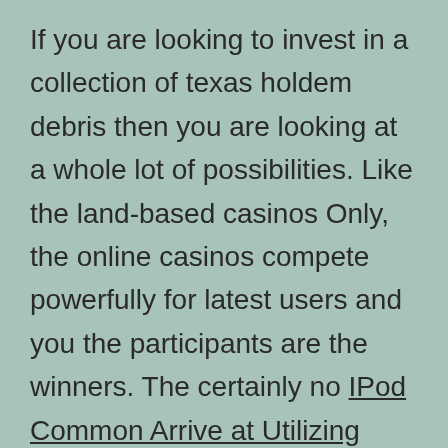If you are looking to invest in a collection of texas holdem debris then you are looking at a whole lot of possibilities. Like the land-based casinos Only, the online casinos compete powerfully for latest users and you the participants are the winners. The certainly no IPod Common Arrive at Utilizing Never-ending Disk pay in mobile modern casino websites have become popular among new buyers rather, who have certainly no claw how to begin the betting on the maneuver. We know what participants want away of casinos, and we know that every participant offers different